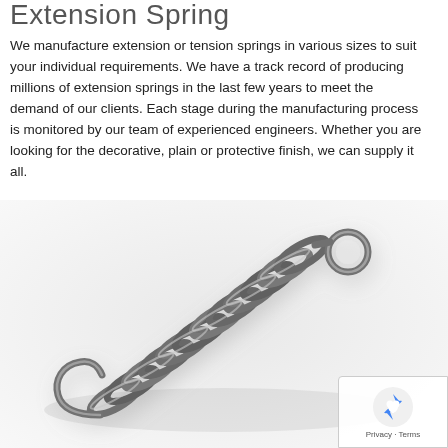Extension Spring
We manufacture extension or tension springs in various sizes to suit your individual requirements. We have a track record of producing millions of extension springs in the last few years to meet the demand of our clients. Each stage during the manufacturing process is monitored by our team of experienced engineers. Whether you are looking for the decorative, plain or protective finish, we can supply it all.
[Figure (photo): A metallic extension spring (tension spring) shown diagonally, with hook loops at both ends, rendered in a 3D illustration style against a white/light grey background with subtle shadow.]
[Figure (logo): reCAPTCHA badge with Privacy and Terms links at the bottom right corner.]